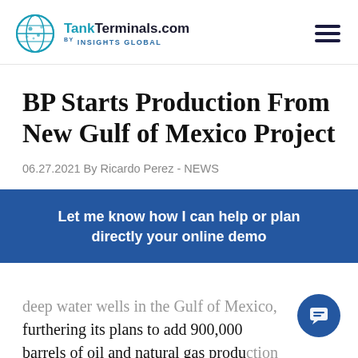TankTerminals.com by INSIGHTS GLOBAL
BP Starts Production From New Gulf of Mexico Project
06.27.2021 By Ricardo Perez - NEWS
Let me know how I can help or plan directly your online demo
deep water wells in the Gulf of Mexico, furthering its plans to add 900,000 barrels of oil and natural gas production per day by year-end.